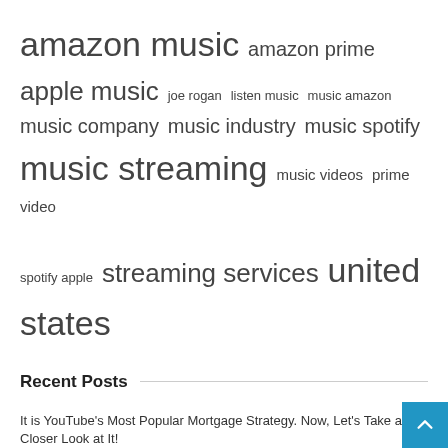[Figure (infographic): Tag cloud with music and streaming related terms in varying font sizes: amazon music (XL), amazon prime (MD), apple music (LG), joe rogan (SM), listen music (SM), music amazon (SM), music company (MD), music industry (MD), music spotify (MD), music streaming (XL), music videos (SM), prime video (SM), spotify apple (XS), streaming services (LG), united states (XL)]
Recent Posts
It is YouTube's Most Popular Mortgage Strategy. Now, Let's Take a Closer Look at It!
Blondie, Spotify Lead Charitable Initiative 'Band Shirt Day'
Loveforce International releases new music by Billy Ray Charles, Ami Ca and inRchild